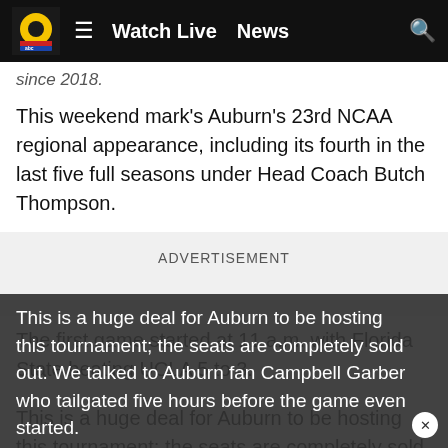Watch Live   News
since 2018.
This weekend mark's Auburn's 23rd NCAA regional appearance, including its fourth in the last five full seasons under Head Coach Butch Thompson.
ADVERTISEMENT
The first game started at 11 a.m. with Florida State beating UCLA 5 to 3.
This is a huge deal for Auburn to be hosting this tournament; the seats are completely sold out. We talked to Auburn fan Campbell Garber who tailgated five hours before the game even started.